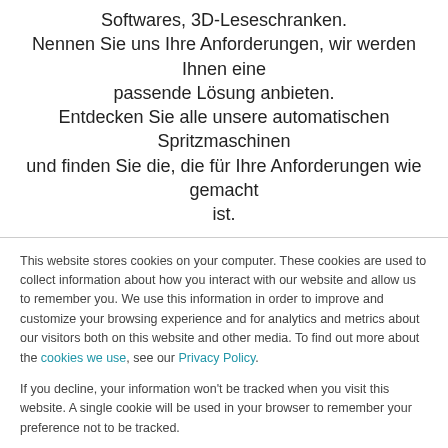Softwares, 3D-Leseschranken. Nennen Sie uns Ihre Anforderungen, wir werden Ihnen eine passende Lösung anbieten. Entdecken Sie alle unsere automatischen Spritzmaschinen und finden Sie die, die für Ihre Anforderungen wie gemacht ist.
This website stores cookies on your computer. These cookies are used to collect information about how you interact with our website and allow us to remember you. We use this information in order to improve and customize your browsing experience and for analytics and metrics about our visitors both on this website and other media. To find out more about the cookies we use, see our Privacy Policy.
If you decline, your information won't be tracked when you visit this website. A single cookie will be used in your browser to remember your preference not to be tracked.
Cookies settings | Accept All | Decline